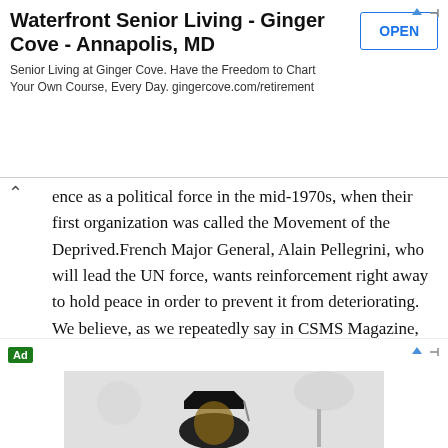[Figure (screenshot): Advertisement banner for Waterfront Senior Living - Ginger Cove - Annapolis, MD with OPEN button]
ence as a political force in the mid-1970s, when their first organization was called the Movement of the Deprived.French Major General, Alain Pellegrini, who will lead the UN force, wants reinforcement right away to hold peace in order to prevent it from deteriorating. We believe, as we repeatedly say in CSMS Magazine, that Lebanon is the main loser—for the Israeli bombings have pushed the country back to at least ten years—sending its people to an uncertain future in a still hostile world while living under constant Israeli threat and aggression.Note: Also go to the News section for more on the war in Lebanon.
[Figure (photo): Advertisement at bottom showing a person in graduation cap and gown near a lamp]